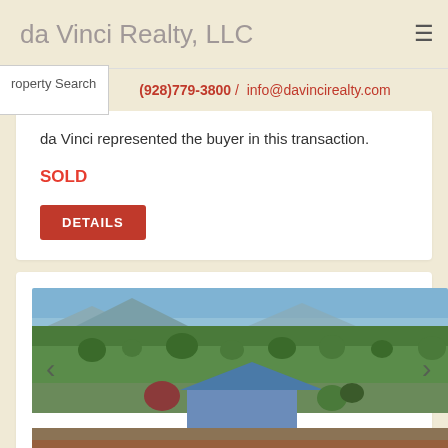da Vinci Realty, LLC
(928)779-3800 / info@davincirealty.com
da Vinci represented the buyer in this transaction.
SOLD
DETAILS
[Figure (photo): Aerial view of a house with blue roof surrounded by trees and green landscape, with a red/brown driveway, mountains in background]